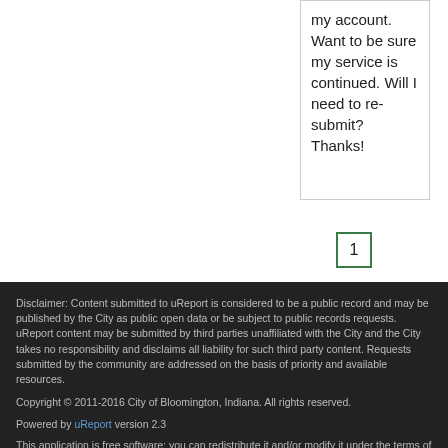my account. Want to be sure my service is continued. Will I need to re-submit? Thanks!
1
Disclaimer: Content submitted to uReport is considered to be a public record and may be published by the City as public open data or be subject to public records requests. uReport content may be submitted by third parties unaffiliated with the City and the City takes no responsibility and disclaims all liability for such third party content. Requests submitted by the community are addressed on the basis of priority and available resources.
Copyright © 2011-2016 City of Bloomington, Indiana. All rights reserved.
Powered by uReport version 2.3
This application is free software; you can redistribute it and/or modify it under the terms of the GNU Affero General Public License